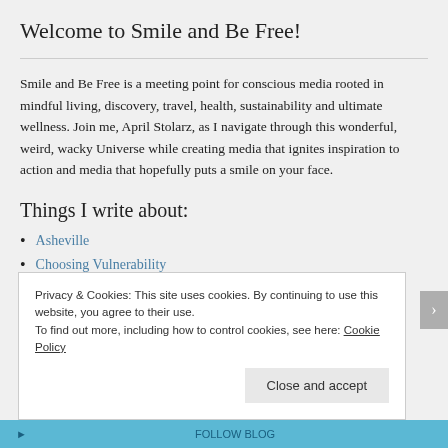Welcome to Smile and Be Free!
Smile and Be Free is a meeting point for conscious media rooted in mindful living, discovery, travel, health, sustainability and ultimate wellness. Join me, April Stolarz, as I navigate through this wonderful, weird, wacky Universe while creating media that ignites inspiration to action and media that hopefully puts a smile on your face.
Things I write about:
Asheville
Choosing Vulnerability
Privacy & Cookies: This site uses cookies. By continuing to use this website, you agree to their use. To find out more, including how to control cookies, see here: Cookie Policy
Close and accept